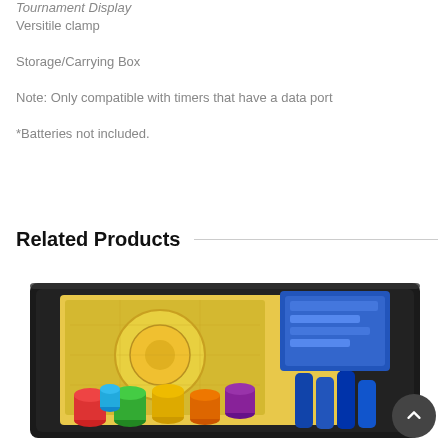Tournament Display
Versitile clamp
Storage/Carrying Box
Note: Only compatible with timers that have a data port
*Batteries not included.
Related Products
[Figure (photo): Photo of a board game storage/carrying box with colorful game pieces (red, green, yellow, blue, purple stackable cups) and game cards/boards spread out on a dark tray.]